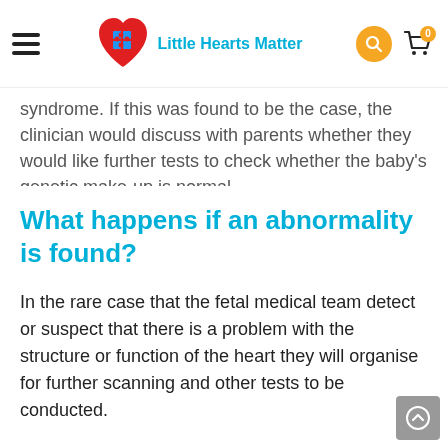Little Hearts Matter
syndrome. If this was found to be the case, the clinician would discuss with parents whether they would like further tests to check whether the baby's genetic make-up is normal.
What happens if an abnormality is found?
In the rare case that the fetal medical team detect or suspect that there is a problem with the structure or function of the heart they will organise for further scanning and other tests to be conducted.